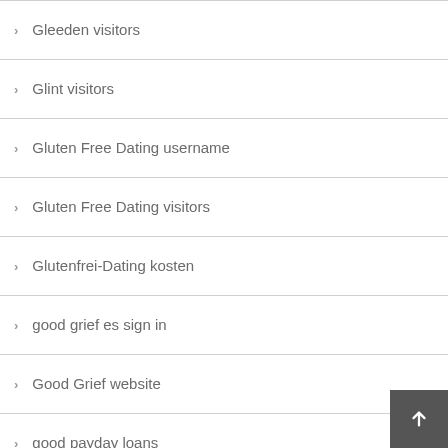Gleeden visitors
Glint visitors
Gluten Free Dating username
Gluten Free Dating visitors
Glutenfrei-Dating kosten
good grief es sign in
Good Grief website
good payday loans
government help with payday loans